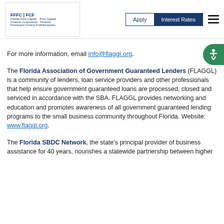Florida First Capital Finance Corporation / First Capital Finance — Apply | Interest Rates
For more information, email info@flaggl.org.
The Florida Association of Government Guaranteed Lenders (FLAGGL) is a community of lenders, loan service providers and other professionals that help ensure government guaranteed loans are processed, closed and serviced in accordance with the SBA. FLAGGL provides networking and education and promotes awareness of all government guaranteed lending programs to the small business community throughout Florida. Website: www.flaggl.org.
The Florida SBDC Network, the state's principal provider of business assistance for 40 years, nourishes a statewide partnership between higher...